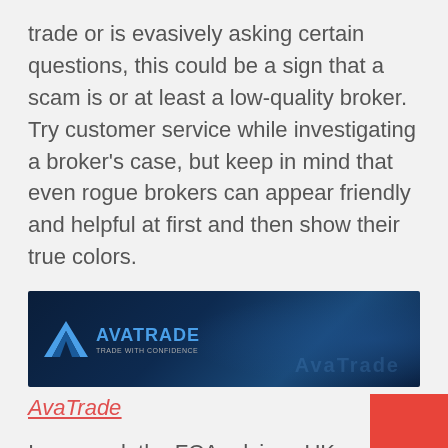trade or is evasively asking certain questions, this could be a sign that a scam is or at least a low-quality broker. Try customer service while investigating a broker's case, but keep in mind that even rogue brokers can appear friendly and helpful at first and then show their true colors.
[Figure (logo): AvaTrade banner advertisement with dark blue background and AvaTrade logo]
AvaTrade
In general, the FCA advises UK investors not to invest with this broker. We do not recommend trading with 31Option as this broker was suspected of being a scam. If you have already signed a contract or sent money to this scam broker, please contact bt